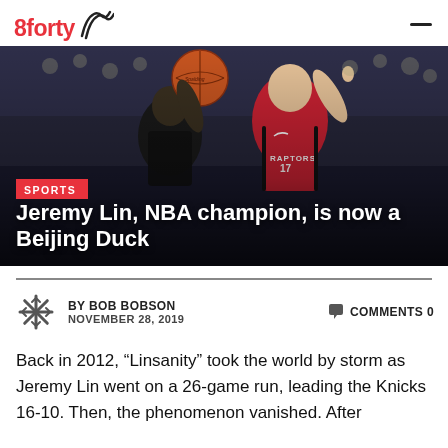8forty
[Figure (photo): Basketball action photo: Jeremy Lin in a Toronto Raptors red jersey (#17) driving to the basket with one arm extended, a defender behind him, arena crowd in background]
Jeremy Lin, NBA champion, is now a Beijing Duck
BY BOB BOBSON | NOVEMBER 28, 2019 | COMMENTS 0
Back in 2012, "Linsanity" took the world by storm as Jeremy Lin went on a 26-game run, leading the Knicks 16-10. Then, the phenomenon vanished. After